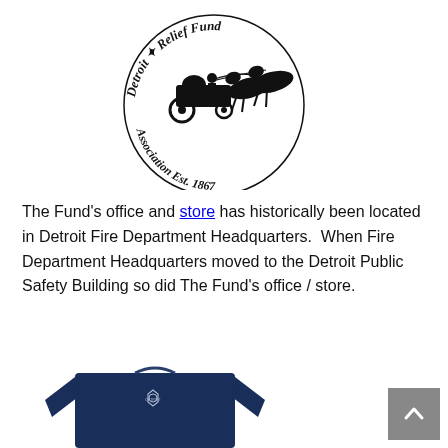[Figure (logo): Detroit Fire Department Relief Fund Association Est 1867 circular logo with horse-drawn fire engine and old English text]
The Fund's office and store has historically been located in Detroit Fire Department Headquarters.  When Fire Department Headquarters moved to the Detroit Public Safety Building so did The Fund's office / store.
[Figure (photo): Navy blue long-sleeve sweatshirt with Detroit Fire Department logo on chest]